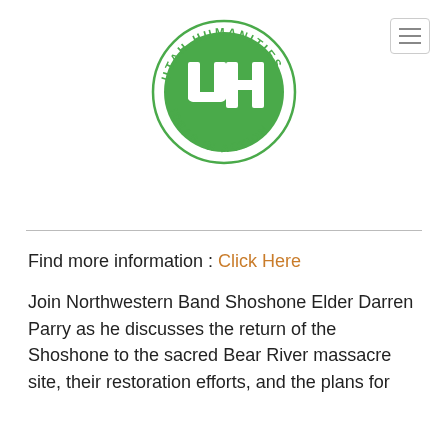[Figure (logo): Utah Humanities - Ideas in Action circular green logo with white UH monogram in center]
Find more information : Click Here
Join Northwestern Band Shoshone Elder Darren Parry as he discusses the return of the Shoshone to the sacred Bear River massacre site, their restoration efforts, and the plans for